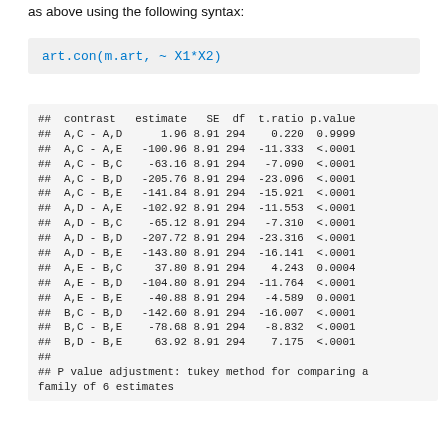as above using the following syntax:
art.con(m.art, ~ X1*X2)
## contrast estimate SE df t.ratio p.value
## A,C - A,D 1.96 8.91 294 0.220 0.9999
## A,C - A,E -100.96 8.91 294 -11.333 <.0001
## A,C - B,C -63.16 8.91 294 -7.090 <.0001
## A,C - B,D -205.76 8.91 294 -23.096 <.0001
## A,C - B,E -141.84 8.91 294 -15.921 <.0001
## A,D - A,E -102.92 8.91 294 -11.553 <.0001
## A,D - B,C -65.12 8.91 294 -7.310 <.0001
## A,D - B,D -207.72 8.91 294 -23.316 <.0001
## A,D - B,E -143.80 8.91 294 -16.141 <.0001
## A,E - B,C 37.80 8.91 294 4.243 0.0004
## A,E - B,D -104.80 8.91 294 -11.764 <.0001
## A,E - B,E -40.88 8.91 294 -4.589 0.0001
## B,C - B,D -142.60 8.91 294 -16.007 <.0001
## B,C - B,E -78.68 8.91 294 -8.832 <.0001
## B,D - B,E 63.92 8.91 294 7.175 <.0001
##
## P value adjustment: tukey method for comparing a
family of 6 estimates